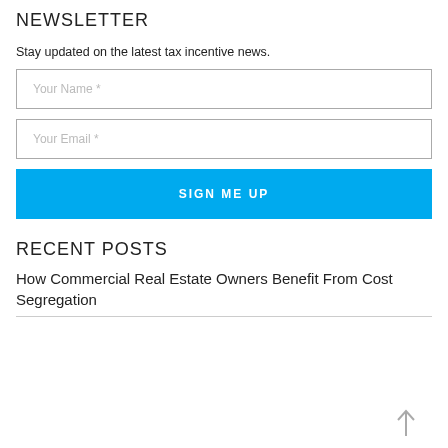NEWSLETTER
Stay updated on the latest tax incentive news.
[Figure (other): Input field with placeholder text 'Your Name *']
[Figure (other): Input field with placeholder text 'Your Email *']
[Figure (other): Blue button labeled 'SIGN ME UP']
RECENT POSTS
How Commercial Real Estate Owners Benefit From Cost Segregation